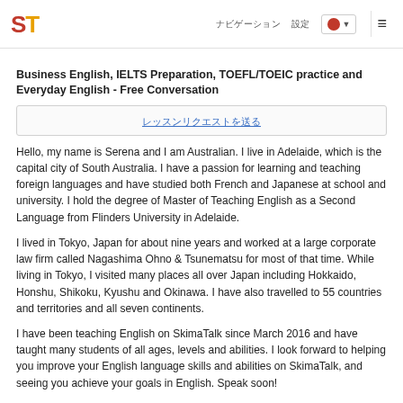ST [logo] | ナビゲーション | 設定 | JP flag | menu
Business English, IELTS Preparation, TOEFL/TOEIC practice and Everyday English - Free Conversation
レッスンリクエストを送る
Hello, my name is Serena and I am Australian. I live in Adelaide, which is the capital city of South Australia. I have a passion for learning and teaching foreign languages and have studied both French and Japanese at school and university. I hold the degree of Master of Teaching English as a Second Language from Flinders University in Adelaide.
I lived in Tokyo, Japan for about nine years and worked at a large corporate law firm called Nagashima Ohno & Tsunematsu for most of that time. While living in Tokyo, I visited many places all over Japan including Hokkaido, Honshu, Shikoku, Kyushu and Okinawa. I have also travelled to 55 countries and territories and all seven continents.
I have been teaching English on SkimaTalk since March 2016 and have taught many students of all ages, levels and abilities. I look forward to helping you improve your English language skills and abilities on SkimaTalk, and seeing you achieve your goals in English. Speak soon!